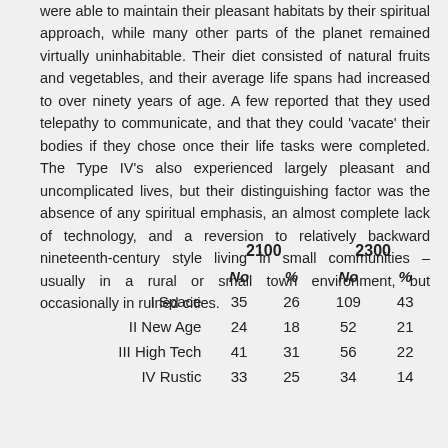were able to maintain their pleasant habitats by their spiritual approach, while many other parts of the planet remained virtually uninhabitable. Their diet consisted of natural fruits and vegetables, and their average life spans had increased to over ninety years of age. A few reported that they used telepathy to communicate, and that they could 'vacate' their bodies if they chose once their life tasks were completed. The Type IV's also experienced largely pleasant and uncomplicated lives, but their distinguishing factor was the absence of any spiritual emphasis, an almost complete lack of technology, and a reversion to relatively backward nineteenth-century style living in small communities – usually in a rural or small town environment, but occasionally in ruined cities.
|  | 2100 |  | 2300 |  |
| --- | --- | --- | --- | --- |
|  | No | % | No | % |
| I Space | 35 | 26 | 109 | 43 |
| II New Age | 24 | 18 | 52 | 21 |
| III High Tech | 41 | 31 | 56 | 22 |
| IV Rustic | 33 | 25 | 34 | 14 |